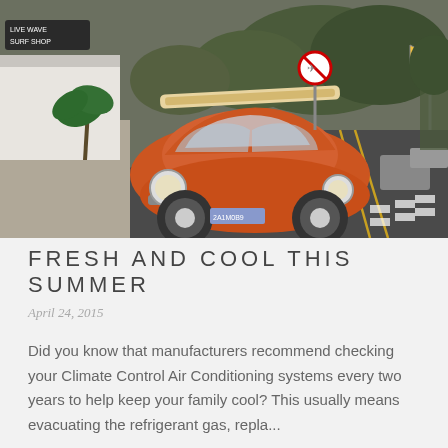[Figure (photo): An orange Volkswagen Beetle with surfboards on the roof rack parked on a road near a surf shop called Live Wave Surf Shop. Trees and mountains visible in background.]
FRESH AND COOL THIS SUMMER
April 24, 2015
Did you know that manufacturers recommend checking your Climate Control Air Conditioning systems every two years to help keep your family cool? This usually means evacuating the refrigerant gas, repla...